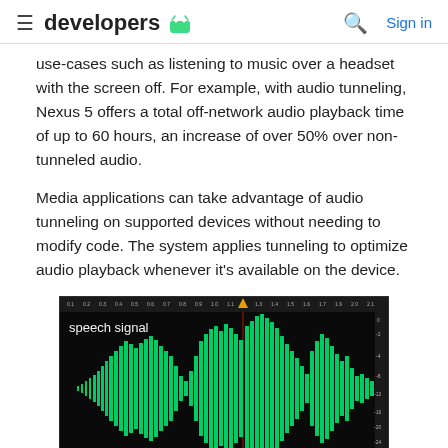developers
use-cases such as listening to music over a headset with the screen off. For example, with audio tunneling, Nexus 5 offers a total off-network audio playback time of up to 60 hours, an increase of over 50% over non-tunneled audio.
Media applications can take advantage of audio tunneling on supported devices without needing to modify code. The system applies tunneling to optimize audio playback whenever it's available on the device.
[Figure (continuous-plot): Waveform visualization labeled 'speech signal' showing a green audio waveform on a black background with time axis markers along the top and amplitude markers on the right side.]